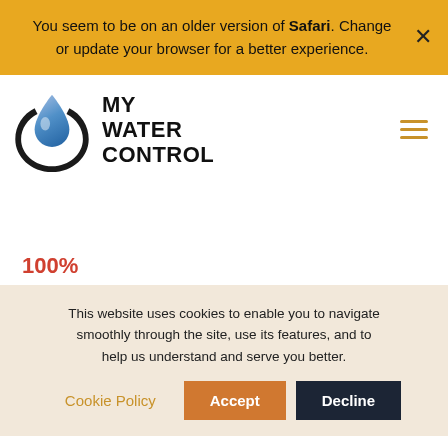You seem to be on an older version of Safari. Change or update your browser for a better experience.
[Figure (logo): My Water Control logo: blue water drop inside a black circular arc, with bold uppercase text 'MY WATER CONTROL']
100%
This website uses cookies to enable you to navigate smoothly through the site, use its features, and to help us understand and serve you better.
Cookie Policy   Accept   Decline